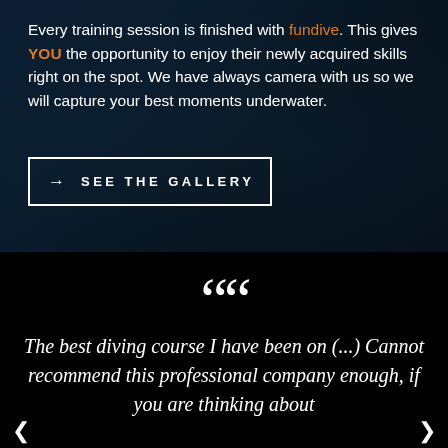Every training session is finished with fundive. This gives YOU the opportunity to enjoy their newly acquired skills right on the spot. We have always camera with us so we will capture your best moments underwater.
→ SEE THE GALLERY
““
The best diving course I have been on (...) Cannot recommend this professional company enough, if you are thinking about